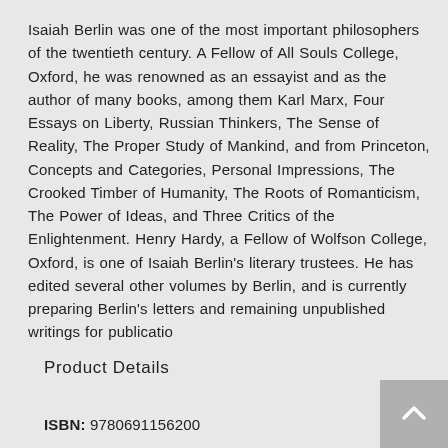Isaiah Berlin was one of the most important philosophers of the twentieth century. A Fellow of All Souls College, Oxford, he was renowned as an essayist and as the author of many books, among them Karl Marx, Four Essays on Liberty, Russian Thinkers, The Sense of Reality, The Proper Study of Mankind, and from Princeton, Concepts and Categories, Personal Impressions, The Crooked Timber of Humanity, The Roots of Romanticism, The Power of Ideas, and Three Critics of the Enlightenment. Henry Hardy, a Fellow of Wolfson College, Oxford, is one of Isaiah Berlin's literary trustees. He has edited several other volumes by Berlin, and is currently preparing Berlin's letters and remaining unpublished writings for publicatio
Product Details
ISBN: 9780691156200